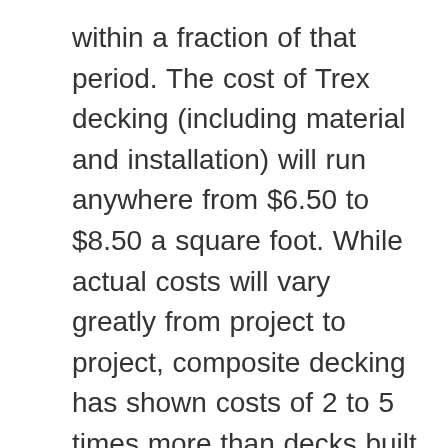within a fraction of that period. The cost of Trex decking (including material and installation) will run anywhere from $6.50 to $8.50 a square foot. While actual costs will vary greatly from project to project, composite decking has shown costs of 2 to 5 times more than decks built from pressure treated wood, and nearly twice as much as a deck protected with PVC Vinyl. So is composite decking worth the money? It is easier to clean and maintain which makes it last long enough to transfer the same value to the next homeowner. Read on to see why composite decking is absolutely worth your time. ... Composite decking has a textured finish that mimics real wood grain. This article looks at